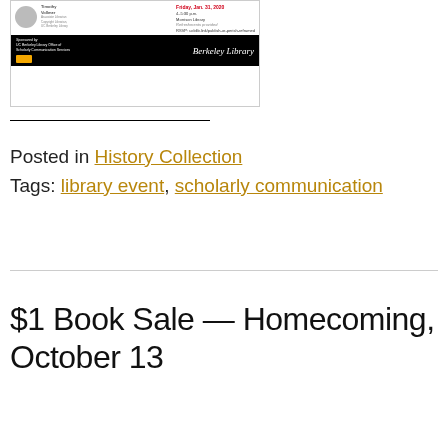[Figure (illustration): Berkeley Library event flyer for a scholarly communication event on Friday, Jan. 31, 2020, 4-5:30 p.m., Morrison Library. Shows two speakers with headshots, event details, and Berkeley Library branding on black footer.]
Posted in History Collection
Tags: library event, scholarly communication
$1 Book Sale — Homecoming, October 13